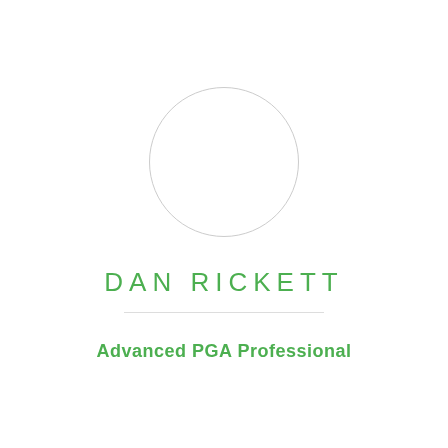[Figure (illustration): Circular avatar placeholder — empty white circle with a light grey border, centered in the upper half of the page]
DAN RICKETT
Advanced PGA Professional